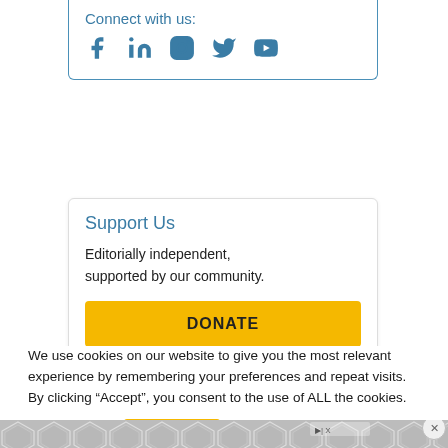Connect with us:
[Figure (illustration): Social media icons: Facebook, LinkedIn, Instagram, Twitter, YouTube in blue]
Support Us
Editorially independent, supported by our community.
DONATE
We use cookies on our website to give you the most relevant experience by remembering your preferences and repeat visits. By clicking “Accept”, you consent to the use of ALL the cookies.
Cookie settings   ACCEPT